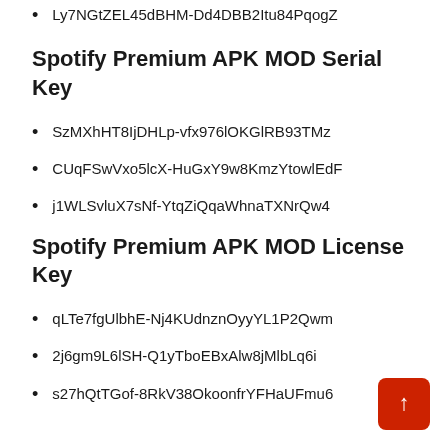Ly7NGtZEL45dBHM-Dd4DBB2Itu84PqogZ
Spotify Premium APK MOD Serial Key
SzMXhHT8IjDHLp-vfx976lOKGlRB93TMz
CUqFSwVxo5lcX-HuGxY9w8KmzYtowlEdF
j1WLSvluX7sNf-YtqZiQqaWhnaTXNrQw4
Spotify Premium APK MOD License Key
qLTe7fgUlbhE-Nj4KUdnznOyyYL1P2Qwm
2j6gm9L6lSH-Q1yTboEBxAlw8jMlbLq6i
s27hQtTGof-8RkV38OkoonfrYFHaUFmu6